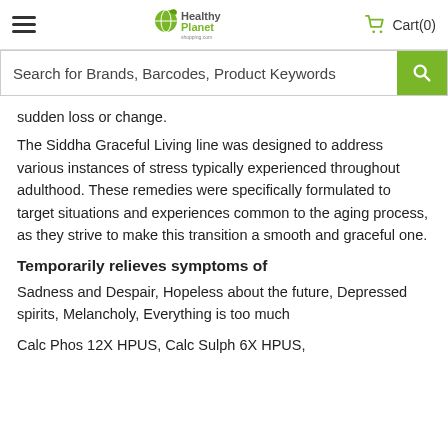Healthy Planet Shopping.com — Cart(0)
Search for Brands, Barcodes, Product Keywords
sudden loss or change.
The Siddha Graceful Living line was designed to address various instances of stress typically experienced throughout adulthood. These remedies were specifically formulated to target situations and experiences common to the aging process, as they strive to make this transition a smooth and graceful one.
Temporarily relieves symptoms of
Sadness and Despair, Hopeless about the future, Depressed spirits, Melancholy, Everything is too much
Calc Phos 12X HPUS, Calc Sulph 6X HPUS,